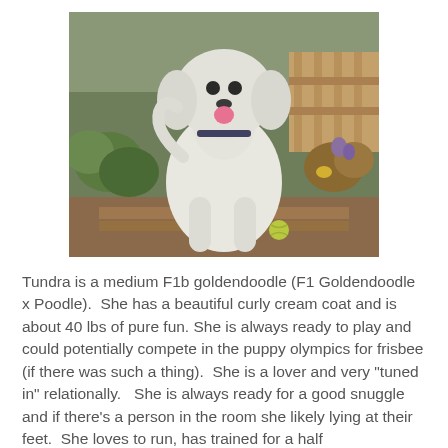[Figure (photo): A white fluffy goldendoodle dog standing outdoors in a garden setting, facing the camera with tongue out. Green plants and wooden fence visible in the background. A tennis ball is on the ground near the dog.]
Tundra is a medium F1b goldendoodle (F1 Goldendoodle x Poodle).  She has a beautiful curly cream coat and is about 40 lbs of pure fun. She is always ready to play and could potentially compete in the puppy olympics for frisbee (if there was such a thing).  She is a lover and very "tuned in" relationally.   She is always ready for a good snuggle and if there's a person in the room she likely lying at their feet.  She loves to run, has trained for a half